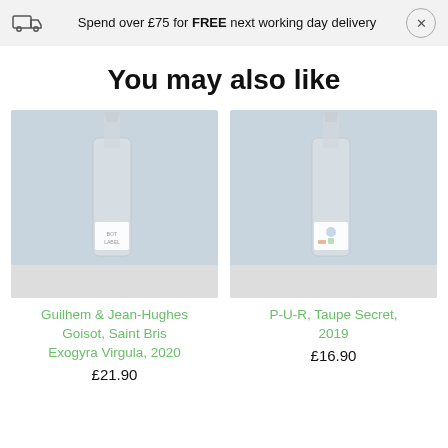Spend over £75 for FREE next working day delivery
You may also like
[Figure (photo): Wine bottle - Guilhem & Jean-Hughes Goisot, Saint Bris Exogyra Virgula, 2020]
[Figure (photo): Wine bottle - P-U-R, Taupe Secret, 2019]
Guilhem & Jean-Hughes Goisot, Saint Bris Exogyra Virgula, 2020
£21.90
P-U-R, Taupe Secret, 2019
£16.90